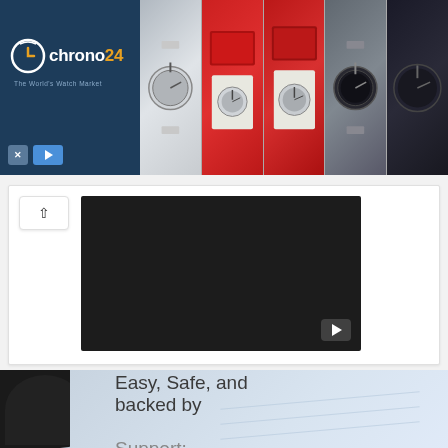[Figure (screenshot): Chrono24 advertisement banner with logo on dark blue background on the left and watch photos on the right]
[Figure (screenshot): Video player embedded in white card area, showing a dark/black video frame with YouTube play button in bottom right corner. Chevron up button in upper left.]
[Figure (photo): Partial background photo of a person in a blue shirt, overlaid with large text reading 'Easy, Safe, and backed by Support: More Reasons to' (text continues below fold)]